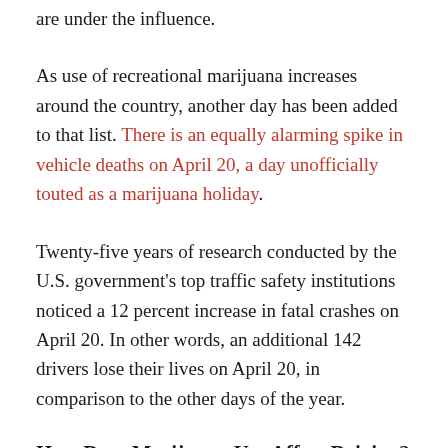are under the influence.
As use of recreational marijuana increases around the country, another day has been added to that list. There is an equally alarming spike in vehicle deaths on April 20, a day unofficially touted as a marijuana holiday.
Twenty-five years of research conducted by the U.S. government’s top traffic safety institutions noticed a 12 percent increase in fatal crashes on April 20. In other words, an additional 142 drivers lose their lives on April 20, in comparison to the other days of the year.
How Does Marijuana Use Affect Driving?
According to the CDC, marijuana use negatively